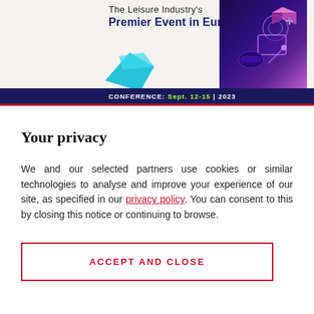[Figure (screenshot): Banner advertisement for The Leisure Industry's Premier Event in Europe conference, showing text and a dark purple background with VR/AR themed imagery. Conference bar at bottom reads: CONFERENCE: Sept. 12-15 | 2023]
Your privacy
We and our selected partners use cookies or similar technologies to analyse and improve your experience of our site, as specified in our privacy policy. You can consent to this by closing this notice or continuing to browse.
ACCEPT AND CLOSE